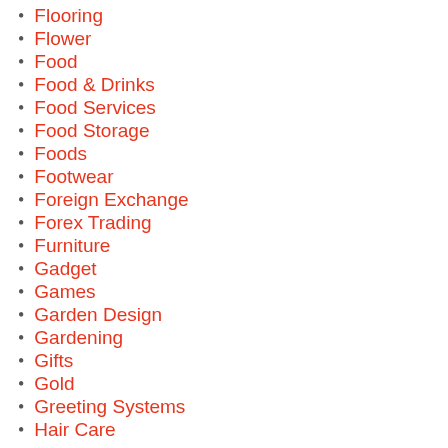Flooring
Flower
Food
Food & Drinks
Food Services
Food Storage
Foods
Footwear
Foreign Exchange
Forex Trading
Furniture
Gadget
Games
Garden Design
Gardening
Gifts
Gold
Greeting Systems
Hair Care